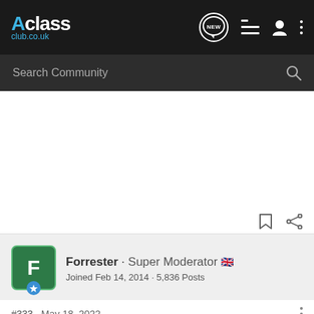Aclass club.co.uk
Search Community
[Figure (screenshot): White advertisement area]
Forrester · Super Moderator 🇬🇧
Joined Feb 14, 2014 · 5,836 Posts
#333 · May 18, 2022
Are you guys not being offered the option of a new FL model order or are MB not interested in selling cars anymore.